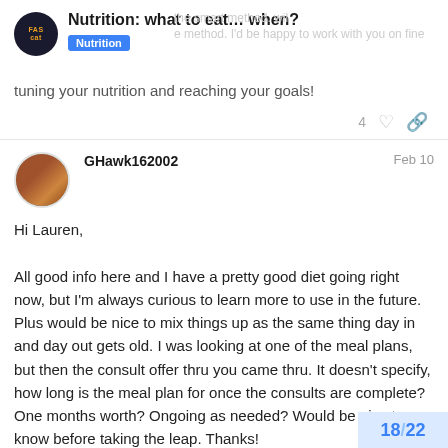Nutrition: what to eat... when?
tuning your nutrition and reaching your goals!
GHawk162002  Feb 10
Hi Lauren,

All good info here and I have a pretty good diet going right now, but I'm always curious to learn more to use in the future. Plus would be nice to mix things up as the same thing day in and day out gets old. I was looking at one of the meal plans, but then the consult offer thru you came thru. It doesn't specify, how long is the meal plan for once the consults are complete? One months worth? Ongoing as needed? Would be nice to know before taking the leap. Thanks!
18 / 22